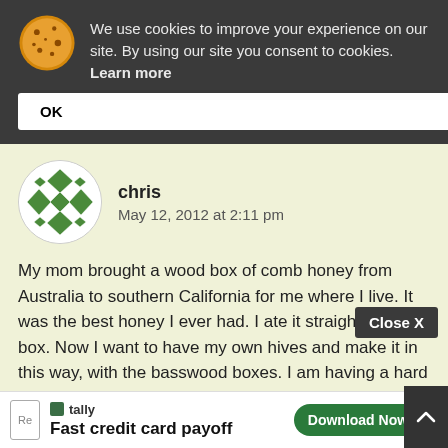We use cookies to improve your experience on our site. By using our site you consent to cookies. Learn more
OK
[Figure (illustration): Green geometric avatar icon for user 'chris']
chris
May 12, 2012 at 2:11 pm
My mom brought a wood box of comb honey from Australia to southern California for me where I live. It was the best honey I ever had. I ate it straight from the box. Now I want to have my own hives and make it in this way, with the basswood boxes. I am having a hard time finding info on the web. If anyone knows some sites that have info and/or equipment please let me know. Thanks
Close X
[Figure (screenshot): Tally advertisement banner: Fast credit card payoff, Download Now button]